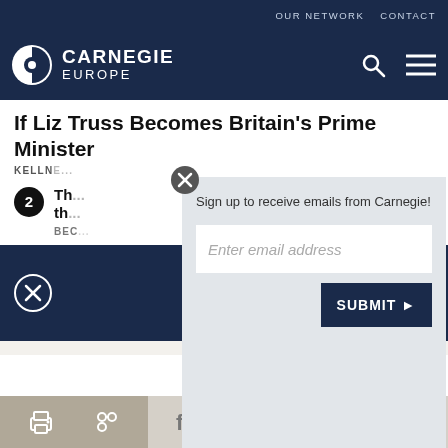OUR NETWORK   CONTACT
[Figure (logo): Carnegie Europe logo with circular icon and text CARNEGIE EUROPE on dark navy background, with search and menu icons on the right]
If Liz Truss Becomes Britain's Prime Minister
KELLN...
2  Th... the...   BEC...
[Figure (screenshot): Email signup modal overlay on dark navy section with close button, text 'Sign up to receive emails from Carnegie!', email input field with placeholder 'Enter email address', and dark navy SUBMIT button with arrow]
Toolbar with print, share, Facebook, Twitter, WhatsApp, Messenger, LinkedIn icons